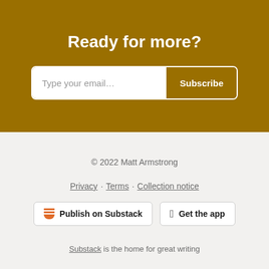Ready for more?
Type your email... Subscribe
© 2022 Matt Armstrong
Privacy · Terms · Collection notice
Publish on Substack
Get the app
Substack is the home for great writing